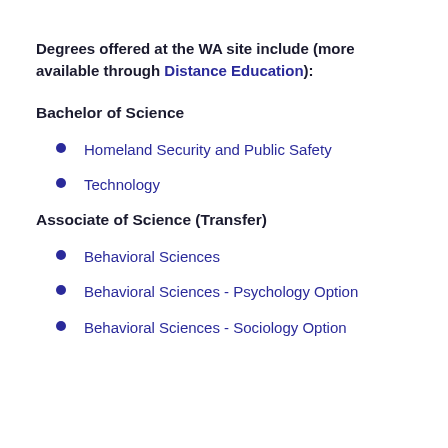Degrees offered at the WA site include (more available through Distance Education):
Bachelor of Science
Homeland Security and Public Safety
Technology
Associate of Science (Transfer)
Behavioral Sciences
Behavioral Sciences - Psychology Option
Behavioral Sciences - Sociology Option